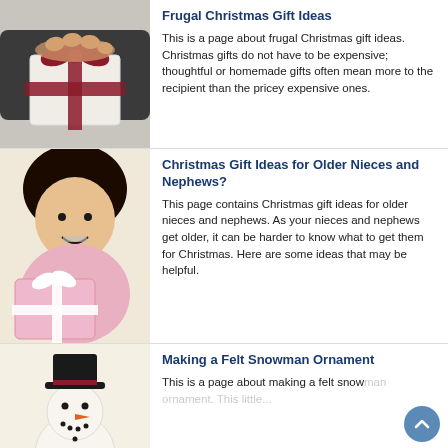[Figure (photo): A hand holding a small white gift box with a red ribbon bow]
Frugal Christmas Gift Ideas
This is a page about frugal Christmas gift ideas. Christmas gifts do not have to be expensive; thoughtful or homemade gifts often mean more to the recipient than the pricey expensive ones.
[Figure (photo): A teenage girl with braces smiling, holding a pink gift box with white ribbon]
Christmas Gift Ideas for Older Nieces and Nephews?
This page contains Christmas gift ideas for older nieces and nephews. As your nieces and nephews get older, it can be harder to know what to get them for Christmas. Here are some ideas that may be helpful.
[Figure (photo): A handmade felt snowman ornament with black hat, carrot nose, and smile]
Making a Felt Snowman Ornament
This is a page about making a felt snowman ornament. This little...